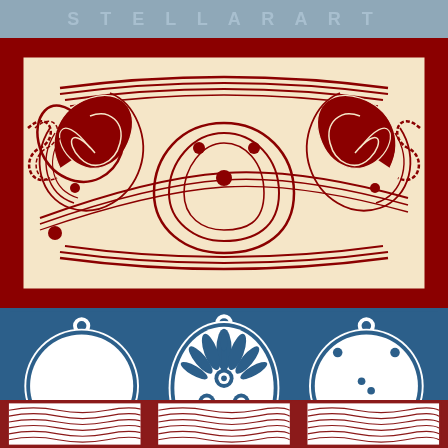[Figure (illustration): Top banner with faint light-colored decorative text on steel blue background]
[Figure (illustration): Laser cut decorative panel with intricate swirling floral/wave patterns in dark red (maroon) and cream/beige, rectangular format with dark red border]
[Figure (illustration): Three circular laser-cut ornament pendants on blue background: left - swirling pinwheel pattern, center - floral/palmette design in oval frame, right - swirling star pattern]
[Figure (illustration): Bottom row partially visible: three square laser-cut panels with intricate wave/scale patterns in dark red and white, shown at bottom edge of page]